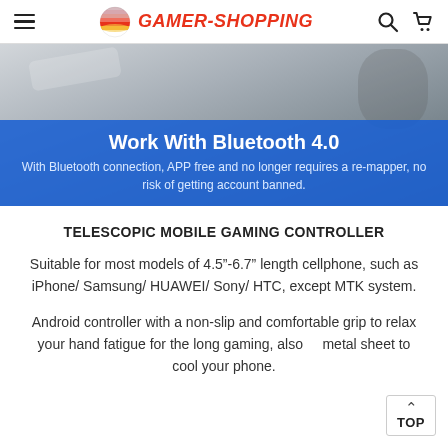GAMER-SHOPPING
[Figure (photo): Product photo of a telescopic mobile gaming controller against a grey textured background, with a blue overlay banner reading 'Work With Bluetooth 4.0' and subtitle 'With Bluetooth connection, APP free and no longer requires a re-mapper, no risk of getting account banned.']
TELESCOPIC MOBILE GAMING CONTROLLER
Suitable for most models of 4.5"-6.7" length cellphone, such as iPhone/ Samsung/ HUAWEI/ Sony/ HTC, except MTK system.
Android controller with a non-slip and comfortable grip to relax your hand fatigue for the long gaming, also metal sheet to cool your phone.